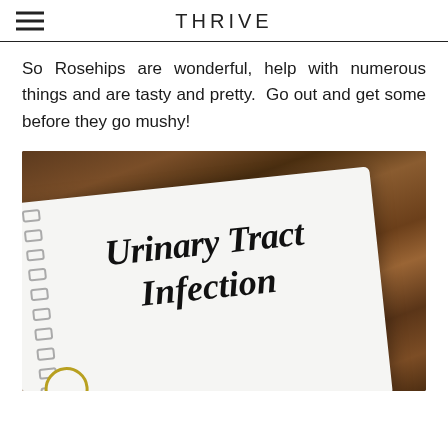THRIVE
So Rosehips are wonderful, help with numerous things and are tasty and pretty.  Go out and get some before they go mushy!
[Figure (photo): A spiral-bound notebook on a wooden surface with cursive text reading 'Urinary Tract Infection' written on it, partially visible. A small circular logo/stamp is visible in the bottom left corner of the notebook.]